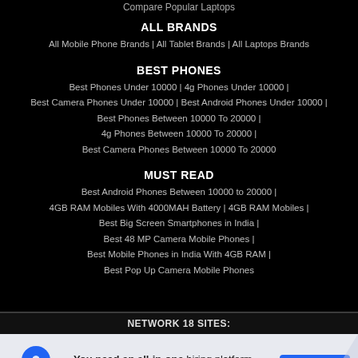Compare Popular Laptops
ALL BRANDS
All Mobile Phone Brands | All Tablet Brands | All Laptops Brands
BEST PHONES
Best Phones Under 10000 | 4g Phones Under 10000 | Best Camera Phones Under 10000 | Best Android Phones Under 10000 | Best Phones Between 10000 To 20000 | 4g Phones Between 10000 To 20000 | Best Camera Phones Between 10000 To 20000
MUST READ
Best Android Phones Between 10000 to 20000 | 4GB RAM Mobiles With 4000MAH Battery | 4GB RAM Mobiles | Best Big Screen Smartphones in India | Best 48 MP Camera Mobile Phones | Best Mobile Phones in India With 4GB RAM | Best Pop Up Camera Mobile Phones
NETWORK 18 SITES:
[Figure (infographic): Indeed advertisement banner: 'You need an all-in-one hiring platform. You need Indeed.' with Start hiring button]